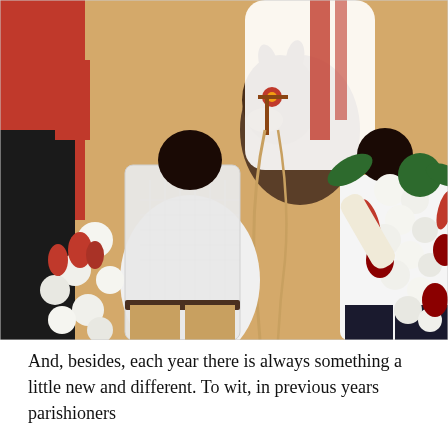[Figure (photo): A decorated donkey or mule wearing ornate red and white decorations and a flower on its forehead. Two men in the foreground face away from the camera — one in a white checkered shirt with tan pants, another in a white shirt with dark pants — appearing to bow or lean toward the animal. Red-clothed figures and abundant garlic, onions, and red radishes/vegetables surround the scene. Yellow wall in the background.]
And, besides, each year there is always something a little new and different. To wit, in previous years parishioners